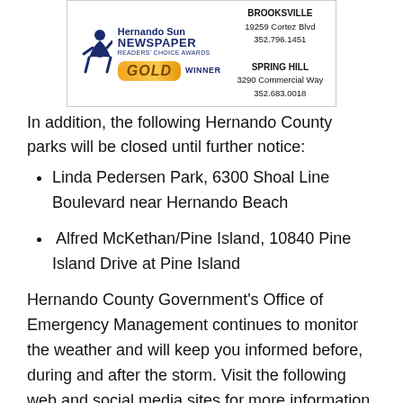[Figure (logo): Hernando Sun Newspaper Readers' Choice Awards GOLD Winner banner with business locations in Brooksville and Spring Hill]
In addition, the following Hernando County parks will be closed until further notice:
Linda Pedersen Park, 6300 Shoal Line Boulevard near Hernando Beach
Alfred McKethan/Pine Island, 10840 Pine Island Drive at Pine Island
Hernando County Government's Office of Emergency Management continues to monitor the weather and will keep you informed before, during and after the storm. Visit the following web and social media sites for more information.
For the latest local conditions and a complete list of news